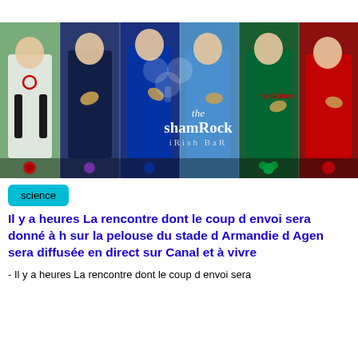[Figure (photo): Composite banner image showing six rugby players in a row, each representing different nations (England in white, Scotland in dark blue, France in blue, Italy in light blue, Ireland in green, Wales in red). The Shamrock Irish Bar logo with shamrock clover appears overlaid in the center.]
science
Il y a heures La rencontre dont le coup d envoi sera donné à h sur la pelouse du stade d Armandie d Agen sera diffusée en direct sur Canal et à vivre
- Il y a heures La rencontre dont le coup d envoi sera